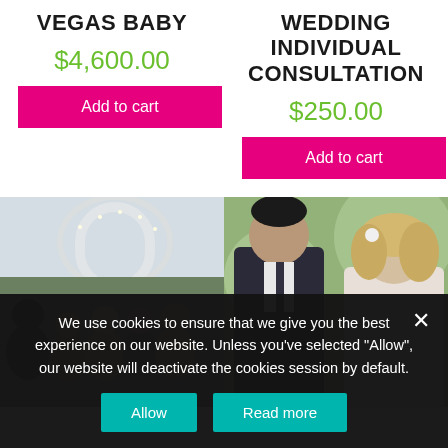VEGAS BABY
$4,600.00
Add to cart
WEDDING INDIVIDUAL CONSULTATION
$250.00
Add to cart
[Figure (photo): Group of people at a wedding venue with white floral arch overhead]
[Figure (photo): Groom and bride at a wedding, man in suit, woman with blonde hair]
We use cookies to ensure that we give you the best experience on our website. Unless you've selected "Allow", our website will deactivate the cookies session by default.
Allow
Read more